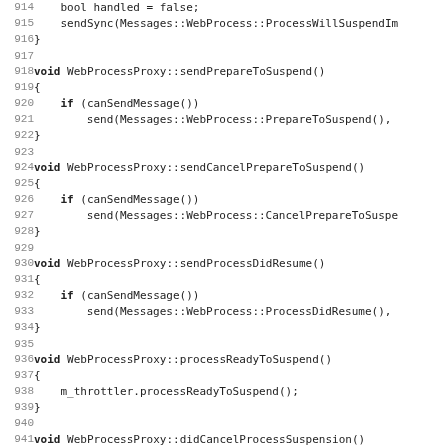Source code listing showing C++ methods of WebProcessProxy class, lines 914-946